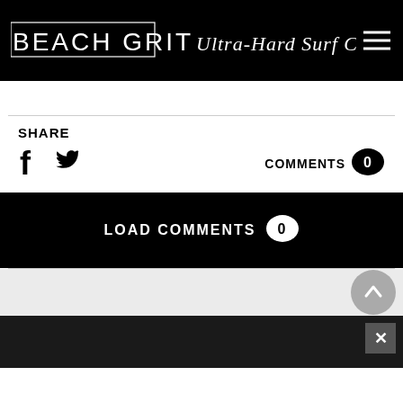BEACH GRIT Ultra-Hard Surf Candy
SHARE
COMMENTS 0
LOAD COMMENTS 0